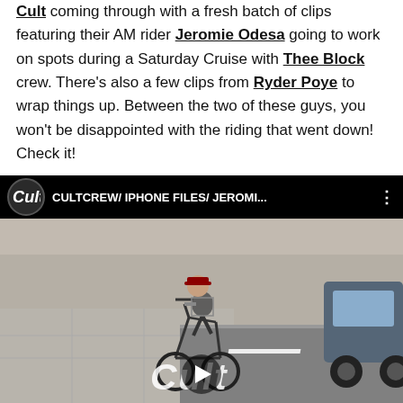Cult coming through with a fresh batch of clips featuring their AM rider Jeromie Odesa going to work on spots during a Saturday Cruise with Thee Block crew. There's also a few clips from Ryder Poye to wrap things up. Between the two of these guys, you won't be disappointed with the riding that went down! Check it!
[Figure (screenshot): Embedded YouTube video thumbnail showing a BMX rider performing a trick on a street corner. The video title reads 'CULTCREW/ IPHONE FILES/ JEROMI...' with the Cult BMX logo. A play button overlay is visible at the bottom center along with the Cult watermark logo.]